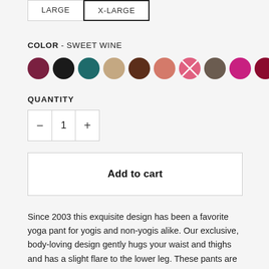LARGE  X-LARGE
COLOR - SWEET WINE
[Figure (other): Color swatches: dark wine/maroon, black, teal, tan/beige, dark brown, salmon/coral, pink plaid/crossed pattern, dark taupe/grey-brown, hot pink/magenta, dark crimson/burgundy]
QUANTITY
- 1 +
Add to cart
Since 2003 this exquisite design has been a favorite yoga pant for yogis and non-yogis alike. Our exclusive, body-loving design gently hugs your waist and thighs and has a slight flare to the lower leg. These pants are